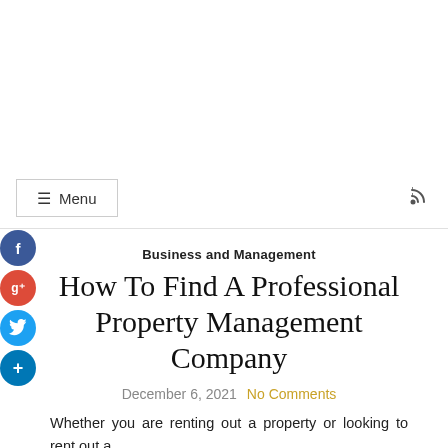Menu
Business and Management
How To Find A Professional Property Management Company
December 6, 2021   No Comments
Whether you are renting out a property or looking to rent out a